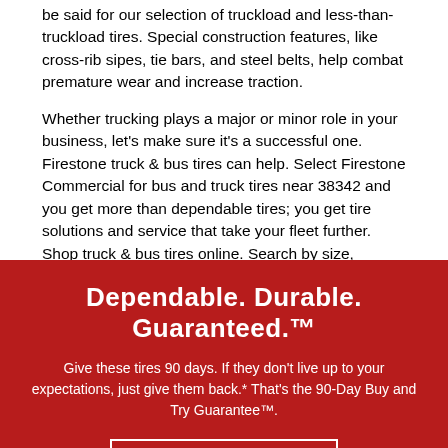be said for our selection of truckload and less-than-truckload tires. Special construction features, like cross-rib sipes, tie bars, and steel belts, help combat premature wear and increase traction.
Whether trucking plays a major or minor role in your business, let's make sure it's a successful one. Firestone truck & bus tires can help. Select Firestone Commercial for bus and truck tires near 38342 and you get more than dependable tires; you get tire solutions and service that take your fleet further. Shop truck & bus tires online. Search by size, position, application, or technology, like SmartWay-verified or CARB Compliant. *Conditions apply. See warranty information for details.
Dependable. Durable. Guaranteed.™
Give these tires 90 days. If they don't live up to your expectations, just give them back.* That's the 90-Day Buy and Try Guarantee™.
GET THE DETAILS